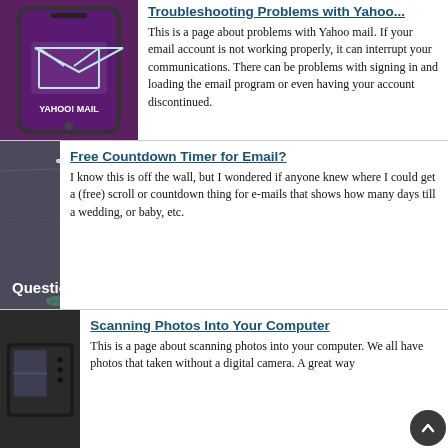Troubleshooting Problems with Yahoo...
This is a page about problems with Yahoo mail. If your email account is not working properly, it can interrupt your communications. There can be problems with signing in and loading the email program or even having your account discontinued.
[Figure (photo): Samsung Galaxy smartphone displaying Yahoo Mail app with envelope icon on purple screen]
Free Countdown Timer for Email?
I know this is off the wall, but I wondered if anyone knew where I could get a (free) scroll or countdown thing for e-mails that shows how many days till a wedding, or baby, etc.
[Figure (photo): Chalkboard with chalk-drawn question mark and text 'Questions' at the bottom]
Scanning Photos Into Your Computer
This is a page about scanning photos into your computer. We all have photos that taken without a digital camera. A great way
[Figure (photo): Black flatbed photo scanner device]